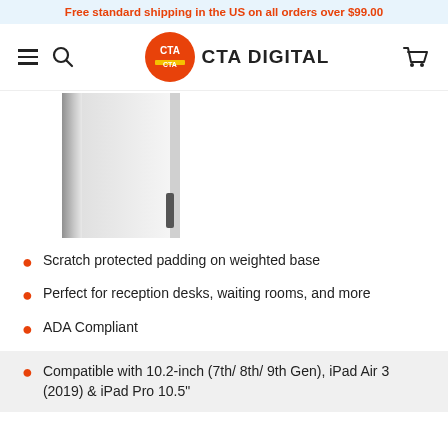Free standard shipping in the US on all orders over $99.00
[Figure (logo): CTA Digital logo with red circle containing 'CTA' text and 'CTA DIGITAL' wordmark beside it]
[Figure (photo): Partial product image showing a white tablet kiosk/stand with gray metallic sides against a white background]
Scratch protected padding on weighted base
Perfect for reception desks, waiting rooms, and more
ADA Compliant
Compatible with 10.2-inch (7th/ 8th/ 9th Gen), iPad Air 3 (2019) & iPad Pro 10.5"